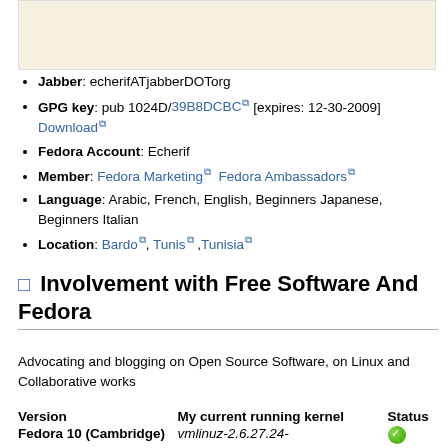[Figure (other): Beige/cream colored background box at top of page]
Jabber: echerifATjabberDOTorg
GPG key: pub 1024D/39B8DCBC [expires: 12-30-2009] Download
Fedora Account: Echerif
Member: Fedora Marketing Fedora Ambassadors
Language: Arabic, French, English, Beginners Japanese, Beginners Italian
Location: Bardo, Tunis ,Tunisia
Involvement with Free Software And Fedora
Advocating and blogging on Open Source Software, on Linux and Collaborative works
| Version | My current running kernel | Status |
| --- | --- | --- |
| Fedora 10 (Cambridge) | vmlinuz-2.6.27.24- |  |